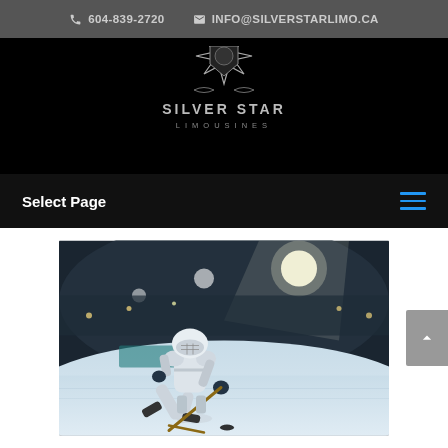604-839-2720  INFO@SILVERSTARLIMO.CA
[Figure (logo): Silver Star Limousines logo — a silver star/shield emblem with decorative script and text SILVER STAR LIMOUSINES on black background]
Select Page
[Figure (photo): Hockey player in white uniform skating on ice rink, leaning forward with a hockey stick, puck on the ice, stadium crowd and bright lights in background]